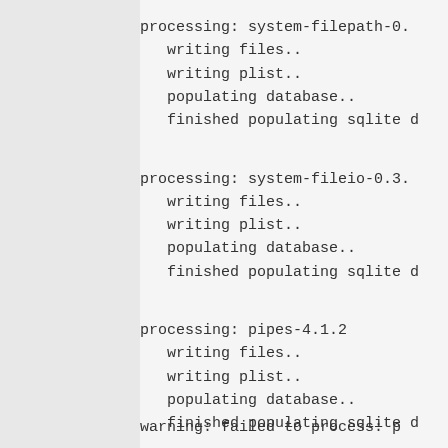processing: system-filepath-0.
   writing files..
   writing plist..
   populating database..
   finished populating sqlite d
processing: system-fileio-0.3.
   writing files..
   writing plist..
   populating database..
   finished populating sqlite d
processing: pipes-4.1.2
   writing files..
   writing plist..
   populating database..
   finished populating sqlite d
warning: failed to process: p